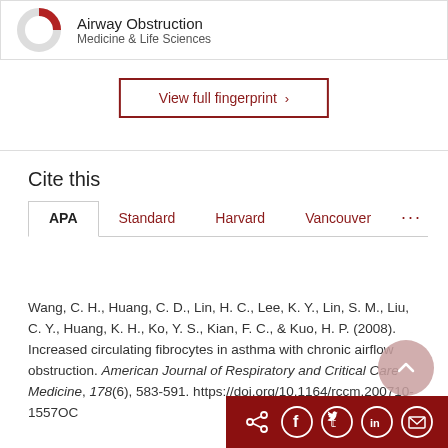[Figure (other): Donut/ring chart icon for Airway Obstruction topic with partial red fill, labeled 'Airway Obstruction' and 'Medicine & Life Sciences']
View full fingerprint ›
Cite this
APA  Standard  Harvard  Vancouver  ···
Wang, C. H., Huang, C. D., Lin, H. C., Lee, K. Y., Lin, S. M., Liu, C. Y., Huang, K. H., Ko, Y. S., Kian, F. C., & Kuo, H. P. (2008). Increased circulating fibrocytes in asthma with chronic airflow obstruction. American Journal of Respiratory and Critical Care Medicine, 178(6), 583-591. https://doi.org/10.1164/rccm.200710-1557OC
[Figure (other): Social sharing bar with icons for share, Facebook, Twitter, LinkedIn, email on dark red background, and a scroll-to-top button]